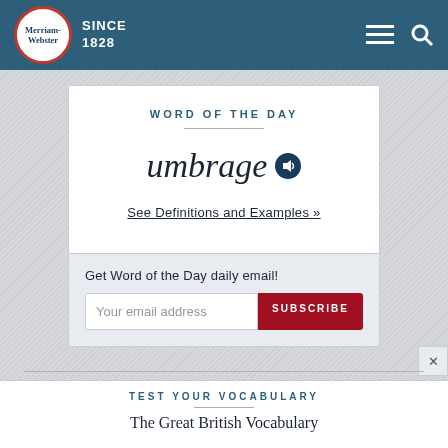Merriam-Webster SINCE 1828
WORD OF THE DAY
umbrage
See Definitions and Examples »
Get Word of the Day daily email!
Your email address
SUBSCRIBE
TEST YOUR VOCABULARY
The Great British Vocabulary